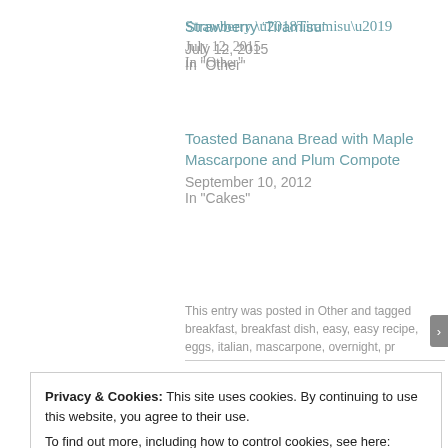Strawberry ‘Tiramisu’
July 12, 2015
In "Other"
Toasted Banana Bread with Maple Mascarpone and Plum Compote
September 10, 2012
In "Cakes"
This entry was posted in Other and tagged breakfast, breakfast dish, easy, easy recipe, eggs, italian, mascarpone, overnight, pr…
Privacy & Cookies: This site uses cookies. By continuing to use this website, you agree to their use.
To find out more, including how to control cookies, see here: Cookie Policy